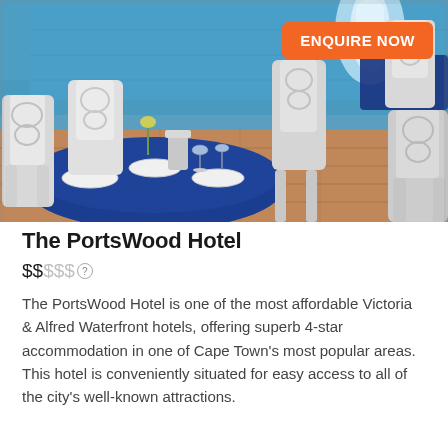[Figure (photo): Outdoor restaurant/dining area by a pool or waterfront, with white ornate metal chairs, tables with blue tablecloths set with white plates and wine glasses, a silver wine cooler, and a waterfall or fountain in the background. Brick/wood deck flooring visible.]
The PortsWood Hotel
$$$$$ (two dollar signs active, three inactive, with a help/info icon)
The PortsWood Hotel is one of the most affordable Victoria & Alfred Waterfront hotels, offering superb 4-star accommodation in one of Cape Town's most popular areas. This hotel is conveniently situated for easy access to all of the city's well-known attractions.